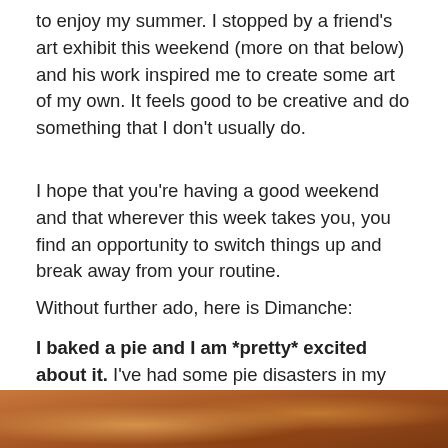to enjoy my summer. I stopped by a friend's art exhibit this weekend (more on that below) and his work inspired me to create some art of my own. It feels good to be creative and do something that I don't usually do.
I hope that you're having a good weekend and that wherever this week takes you, you find an opportunity to switch things up and break away from your routine.
Without further ado, here is Dimanche:
I baked a pie and I am *pretty* excited about it. I've had some pie disasters in my past so it was a relief to make one that turned out exactly the way I wanted it to. I'll put the recipe for this peach blueberry pie on the blog this week.
[Figure (photo): Bottom portion of a pie with golden-brown crust, partially visible at the bottom of the page.]